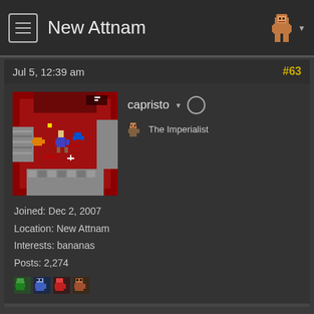New Attnam
Jul 5, 12:39 am   #63
[Figure (screenshot): Pixel art game screenshot showing a red dungeon room with dungeon tiles, player character, and enemies]
capristo ▾ ○
The Imperialist
Joined: Dec 2, 2007
Location: New Attnam
Interests: bananas
Posts: 2,274
[Figure (illustration): Four small pixel art character badges/icons]
It appears so!

First email I sent bounced, so that was scary, but I just had to create a new app password